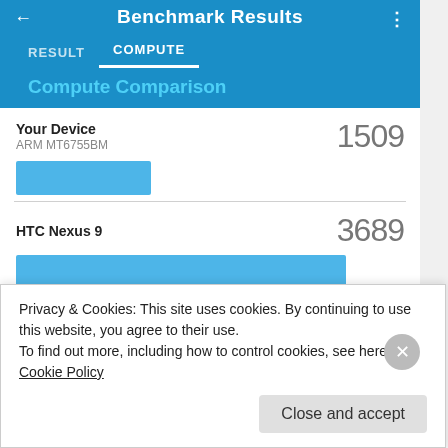Benchmark Results
Compute Comparison
[Figure (bar-chart): Compute Comparison]
Privacy & Cookies: This site uses cookies. By continuing to use this website, you agree to their use.
To find out more, including how to control cookies, see here: Cookie Policy
Close and accept